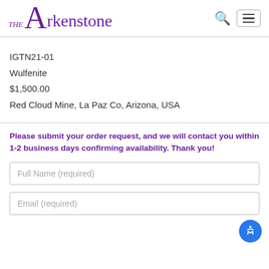THE Arkenstone
IGTN21-01
Wulfenite
$1,500.00
Red Cloud Mine, La Paz Co, Arizona, USA
Please submit your order request, and we will contact you within 1-2 business days confirming availability. Thank you!
Full Name (required)
Email (required)